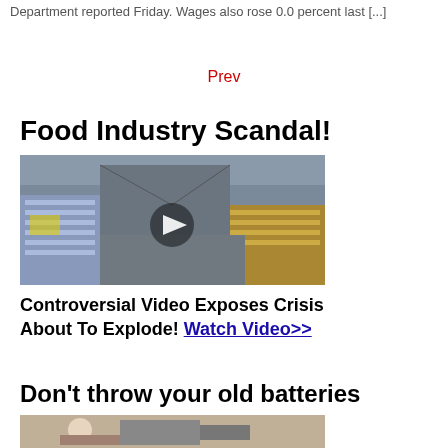Department reported Friday. Wages also rose 0.0 percent last [...]
Prev
Food Industry Scandal!
[Figure (photo): Warehouse interior with rows of stacked water bottles/packages, wide-angle view with a circular play button overlay in the center]
Controversial Video Exposes Crisis About To Explode! Watch Video>>
Don't throw your old batteries
[Figure (photo): Partial image showing a person working on something mechanical]